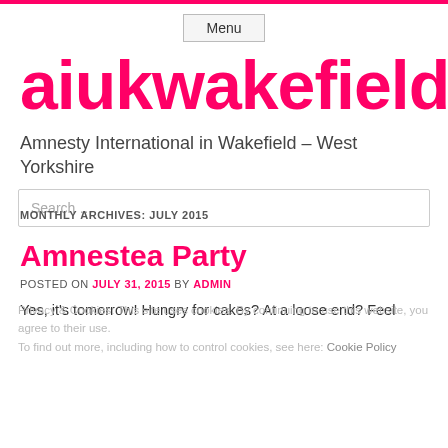Menu
aiukwakefield
Amnesty International in Wakefield – West Yorkshire
Search …
Privacy & Cookies: This site uses cookies. By continuing to use this website, you agree to their use. To find out more, including how to control cookies, see here: Cookie Policy
MONTHLY ARCHIVES: JULY 2015
Amnestea Party
POSTED ON JULY 31, 2015 BY ADMIN
Close and accept
Yes, it's tomorrow! Hungry for cakes? At a loose end? Feel